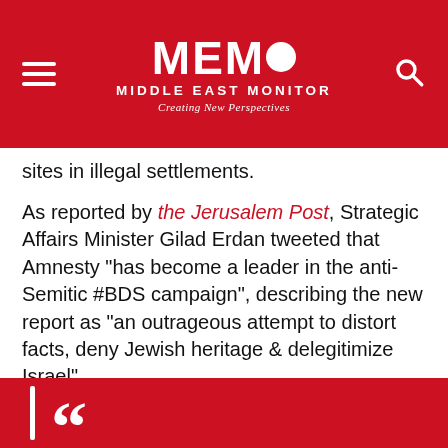MEMO MIDDLE EAST MONITOR — Creating New Perspectives
sites in illegal settlements.
As reported by the Jerusalem Post, Strategic Affairs Minister Gilad Erdan tweeted that Amnesty "has become a leader in the anti-Semitic #BDS campaign", describing the new report as "an outrageous attempt to distort facts, deny Jewish heritage & delegitimize Israel".
READ: Amnesty calls for travel companies to boycott Israel settlements
[Figure (other): Red quotation block at the bottom with a white vertical bar and large red opening quotation marks on a red background]